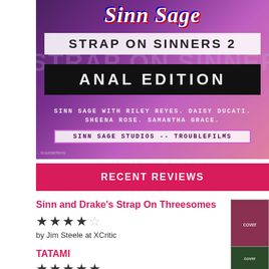[Figure (photo): DVD cover art for 'Strap On Sinners 2 Anal Edition' by Sinn Sage with Riley Reyes, Daisy Ducati, Sheena Rose, Samantha Grace. Sinn Sage Studios -- Troublefilms.]
RECENT REVIEWS
Sinn and Drake's Strap On Threesomes
★★★★☆ by Jim Steele at XCritic
TATAMI
★★★★★